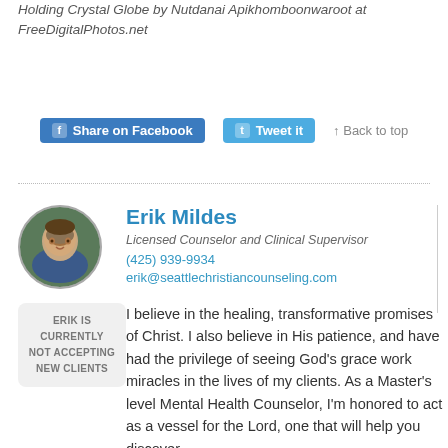Holding Crystal Globe by Nutdanai Apikhomboonwaroot at FreeDigitalPhotos.net
Share on Facebook  Tweet it  ↑ Back to top
Erik Mildes
Licensed Counselor and Clinical Supervisor
(425) 939-9934
erik@seattlechristiancounseling.com
ERIK IS CURRENTLY NOT ACCEPTING NEW CLIENTS
I believe in the healing, transformative promises of Christ. I also believe in His patience, and have had the privilege of seeing God's grace work miracles in the lives of my clients. As a Master's level Mental Health Counselor, I'm honored to act as a vessel for the Lord, one that will help you discover